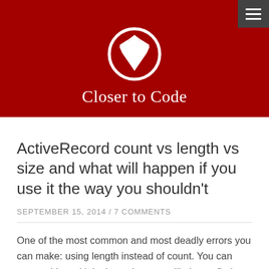[Figure (logo): Ruby gem diamond logo in white circle on dark red background with site title 'Closer to Code']
Closer to Code
ActiveRecord count vs length vs size and what will happen if you use it the way you shouldn't
SEPTEMBER 15, 2014 / 7 COMMENTS
One of the most common and most deadly errors you can make: using length instead of count. You can repeat this multiple times, but you will always find someone who'll use it the way it shouldn't be used.